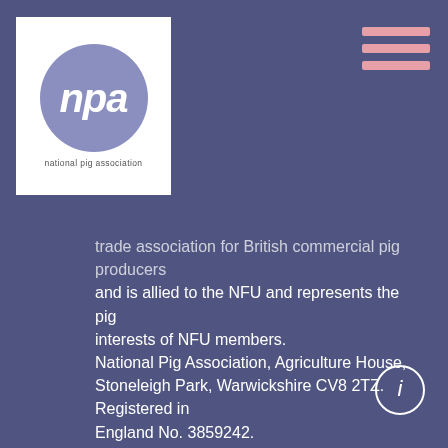NPA – national pig association logo and navigation menu
trade association for British commercial pig producers and is allied to the NFU and represents the pig interests of NFU members. National Pig Association, Agriculture House, Stoneleigh Park, Warwickshire CV8 2TZ. Registered in England No. 3859242.
© 2022 National Pig Association. All Rights Reserved